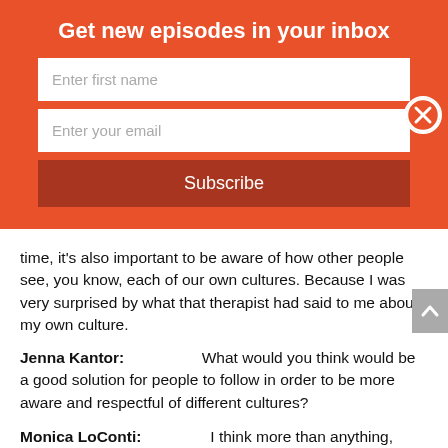Get new episodes in your inbox
Enter first name
Enter your email
Subscribe
time, it's also important to be aware of how other people see, you know, each of our own cultures. Because I was very surprised by what that therapist had said to me about my own culture.
Jenna Kantor:                    What would you think would be a good solution for people to follow in order to be more aware and respectful of different cultures?
Monica LoConti:               I think more than anything, asking, asking each particular person and each particular patient how they identify with their experience or their pain or what they're going through